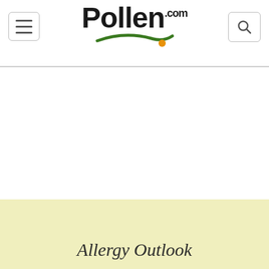[Figure (logo): Pollen.com logo with green swoosh and orange dot]
Allergy Outlook
The Allergy Outlook is unavailable for your location.
Set your default location.